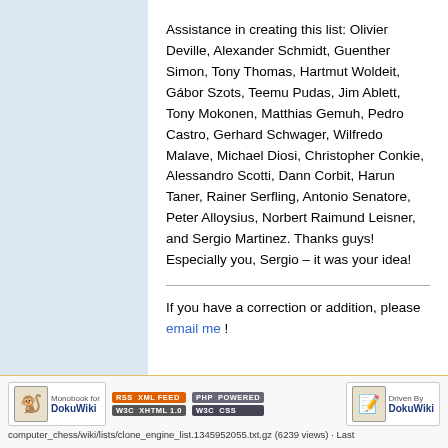Assistance in creating this list: Olivier Deville, Alexander Schmidt, Guenther Simon, Tony Thomas, Hartmut Woldeit, Gábor Szots, Teemu Pudas, Jim Ablett, Tony Mokonen, Matthias Gemuh, Pedro Castro, Gerhard Schwager, Wilfredo Malave, Michael Diosi, Christopher Conkie, Alessandro Scotti, Dann Corbit, Harun Taner, Rainer Serfling, Antonio Senatore, Peter Alloysius, Norbert Raimund Leisner, and Sergio Martinez. Thanks guys! Especially you, Sergio – it was your idea!
If you have a correction or addition, please email me !
computer_chess/wiki/lists/clone_engine_list.1345952055.txt.gz (6239 views) · Last